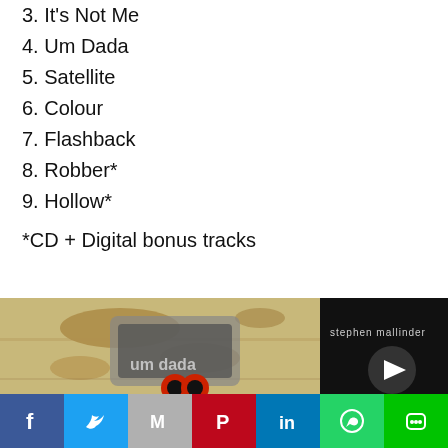3. It's Not Me
4. Um Dada
5. Satellite
6. Colour
7. Flashback
8. Robber*
9. Hollow*
*CD + Digital bonus tracks
[Figure (photo): Album cover for Stephen Mallinder 'Um Dada' showing distressed wall texture with album art and logo, split between textured left side and black right side with 'stephen mallinder' text and play button]
[Figure (infographic): Social media share bar with Facebook, Twitter, Gmail, Pinterest, LinkedIn, WhatsApp, and LINE buttons]